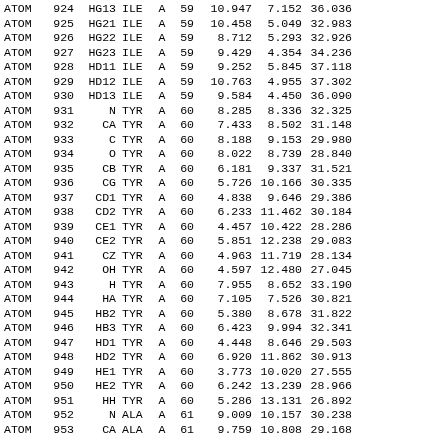| type | num | name | res | chain | resnum | x | y | z |
| --- | --- | --- | --- | --- | --- | --- | --- | --- |
| ATOM | 924 | HG13 | ILE | A | 59 | 10.947 | 7.152 | 36.036 |
| ATOM | 925 | HG21 | ILE | A | 59 | 10.458 | 5.049 | 32.983 |
| ATOM | 926 | HG22 | ILE | A | 59 | 8.712 | 5.293 | 32.926 |
| ATOM | 927 | HG23 | ILE | A | 59 | 9.429 | 4.354 | 34.236 |
| ATOM | 928 | HD11 | ILE | A | 59 | 9.252 | 5.845 | 37.118 |
| ATOM | 929 | HD12 | ILE | A | 59 | 10.763 | 4.955 | 37.302 |
| ATOM | 930 | HD13 | ILE | A | 59 | 9.584 | 4.450 | 36.090 |
| ATOM | 931 | N | TYR | A | 60 | 8.285 | 8.336 | 32.325 |
| ATOM | 932 | CA | TYR | A | 60 | 7.433 | 8.502 | 31.148 |
| ATOM | 933 | C | TYR | A | 60 | 8.188 | 9.153 | 29.980 |
| ATOM | 934 | O | TYR | A | 60 | 8.022 | 8.739 | 28.840 |
| ATOM | 935 | CB | TYR | A | 60 | 6.181 | 9.337 | 31.521 |
| ATOM | 936 | CG | TYR | A | 60 | 5.726 | 10.166 | 30.335 |
| ATOM | 937 | CD1 | TYR | A | 60 | 4.838 | 9.646 | 29.386 |
| ATOM | 938 | CD2 | TYR | A | 60 | 6.233 | 11.462 | 30.184 |
| ATOM | 939 | CE1 | TYR | A | 60 | 4.457 | 10.422 | 28.286 |
| ATOM | 940 | CE2 | TYR | A | 60 | 5.851 | 12.238 | 29.083 |
| ATOM | 941 | CZ | TYR | A | 60 | 4.963 | 11.719 | 28.134 |
| ATOM | 942 | OH | TYR | A | 60 | 4.597 | 12.480 | 27.045 |
| ATOM | 943 | H | TYR | A | 60 | 7.955 | 8.652 | 33.190 |
| ATOM | 944 | HA | TYR | A | 60 | 7.105 | 7.526 | 30.821 |
| ATOM | 945 | HB2 | TYR | A | 60 | 5.380 | 8.678 | 31.822 |
| ATOM | 946 | HB3 | TYR | A | 60 | 6.423 | 9.994 | 32.341 |
| ATOM | 947 | HD1 | TYR | A | 60 | 4.448 | 8.646 | 29.503 |
| ATOM | 948 | HD2 | TYR | A | 60 | 6.920 | 11.862 | 30.913 |
| ATOM | 949 | HE1 | TYR | A | 60 | 3.773 | 10.020 | 27.555 |
| ATOM | 950 | HE2 | TYR | A | 60 | 6.242 | 13.239 | 28.966 |
| ATOM | 951 | HH | TYR | A | 60 | 5.286 | 13.131 | 26.892 |
| ATOM | 952 | N | ALA | A | 61 | 9.009 | 10.157 | 30.238 |
| ATOM | 953 | CA | ALA | A | 61 | 9.759 | 10.808 | 29.168 |